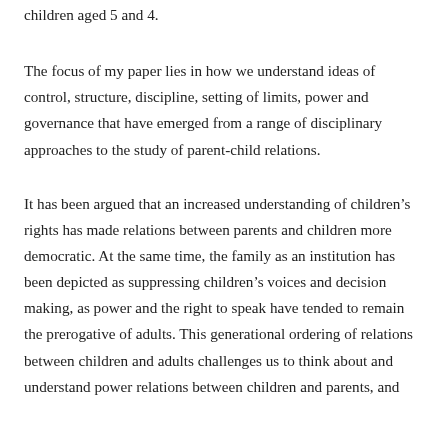children aged 5 and 4.
The focus of my paper lies in how we understand ideas of control, structure, discipline, setting of limits, power and governance that have emerged from a range of disciplinary approaches to the study of parent-child relations.
It has been argued that an increased understanding of children's rights has made relations between parents and children more democratic. At the same time, the family as an institution has been depicted as suppressing children's voices and decision making, as power and the right to speak have tended to remain the prerogative of adults. This generational ordering of relations between children and adults challenges us to think about and understand power relations between children and parents, and